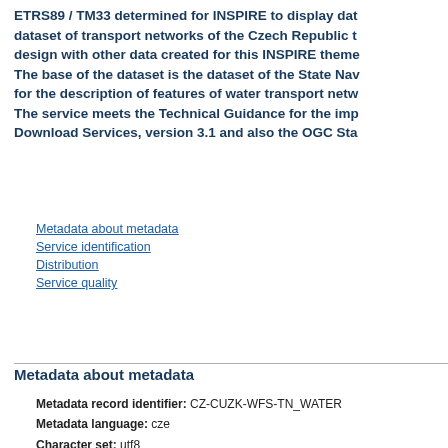ETRS89 / TM33 determined for INSPIRE to display dataset of transport networks of the Czech Republic to design with other data created for this INSPIRE theme. The base of the dataset is the dataset of the State Navigation for the description of features of water transport networks. The service meets the Technical Guidance for the implementation of Download Services, version 3.1 and also the OGC Standard.
Metadata about metadata
Service identification
Distribution
Service quality
Metadata about metadata
Metadata record identifier: CZ-CUZK-WFS-TN_WATER
Metadata language: cze
Character set: utf8
Master metadata record identifier:
Source type: service
Name of hierarchy level: META_WFS-TN_WATER_SERVICE